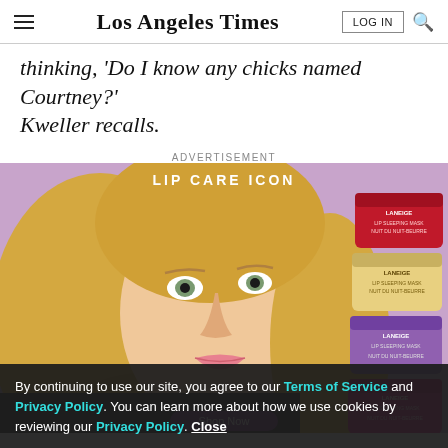Los Angeles Times
thinking, 'Do I know any chicks named Courtney?' Kweller recalls.
ADVERTISEMENT
[Figure (photo): Advertisement for Laneige Lip Care Icon products showing a blonde woman applying lip gloss, with stacked Laneige lip sleeping mask jars on the right side against a purple background. Text reads LIP CARE ICON and Shop Now.]
By continuing to use our site, you agree to our Terms of Service and Privacy Policy. You can learn more about how we use cookies by reviewing our Privacy Policy. Close